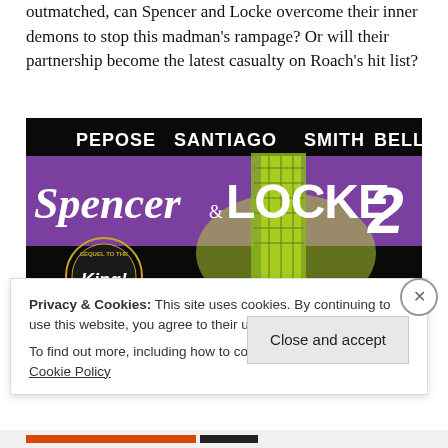outmatched, can Spencer and Locke overcome their inner demons to stop this madman's rampage? Or will their partnership become the latest casualty on Roach's hit list?
[Figure (illustration): Comic book cover for Spencer & Locke 2. Black background with creators' names PEPOSE, SANTIAGO, SMITH, BELL at top in white bold text. Purple horizontal banner with stylized title 'Spencer & LOCKE 2' in white lettering. Green glowing doorway/portal in the center-right. Badge in lower-left reads 'SEQUEL TO THE' with logo. Comic noir style art.]
Privacy & Cookies: This site uses cookies. By continuing to use this website, you agree to their use.
To find out more, including how to control cookies, see here: Cookie Policy
Close and accept